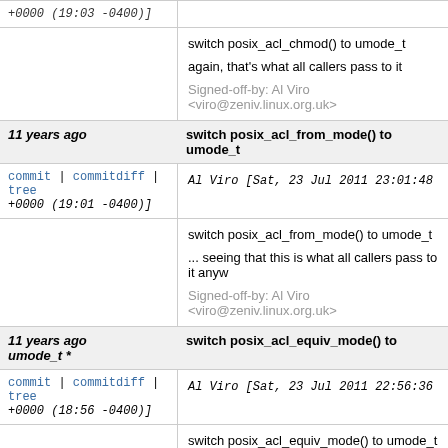+0000 (19:03 -0400)]
switch posix_acl_chmod() to umode_t

again, that's what all callers pass to it

Signed-off-by: Al Viro <viro@zeniv.linux.org.uk>
11 years ago   switch posix_acl_from_mode() to umode_t
commit | commitdiff | tree   Al Viro [Sat, 23 Jul 2011 23:01:48 +0000 (19:01 -0400)]
switch posix_acl_from_mode() to umode_t

... seeing that this is what all callers pass to it anyw

Signed-off-by: Al Viro <viro@zeniv.linux.org.uk>
11 years ago   switch posix_acl_equiv_mode() to umode_t *
commit | commitdiff | tree   Al Viro [Sat, 23 Jul 2011 22:56:36 +0000 (18:56 -0400)]
switch posix_acl_equiv_mode() to umode_t *

... so that &inode->i  mode could be passed to it